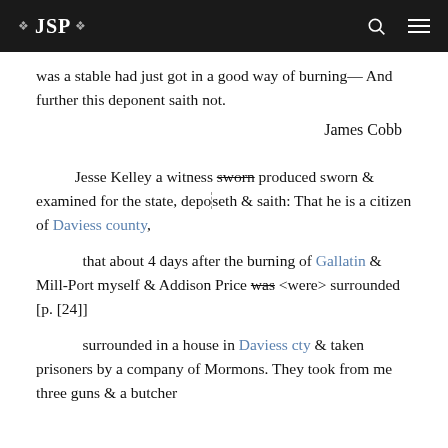❖ JSP ❖
was a stable had just got in a good way of burning— And further this deponent saith not.
James Cobb
Jesse Kelley a witness sworn produced sworn & examined for the state, deposeth & saith: That he is a citizen of Daviess county,
that about 4 days after the burning of Gallatin & Mill-Port myself & Addison Price was <were> surrounded [p. [24]]
surrounded in a house in Daviess cty & taken prisoners by a company of Mormons. They took from me three guns & a butcher